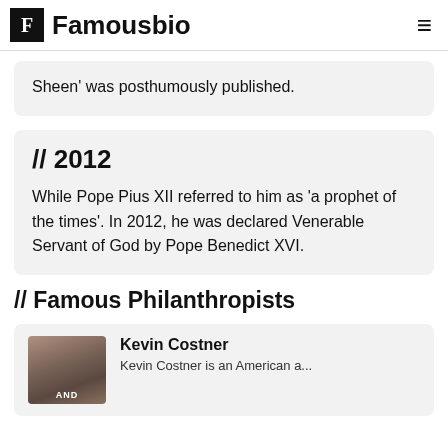Famousbio
Sheen' was posthumously published.
// 2012
While Pope Pius XII referred to him as 'a prophet of the times'. In 2012, he was declared Venerable Servant of God by Pope Benedict XVI.
// Famous Philanthropists
Kevin Costner
Kevin Costner is an American actor...